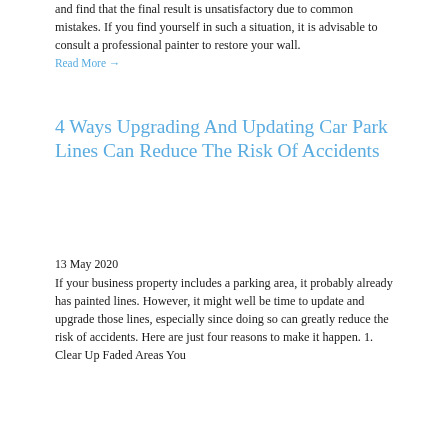and find that the final result is unsatisfactory due to common mistakes. If you find yourself in such a situation, it is advisable to consult a professional painter to restore your wall.
Read More →
4 Ways Upgrading And Updating Car Park Lines Can Reduce The Risk Of Accidents
13 May 2020
If your business property includes a parking area, it probably already has painted lines. However, it might well be time to update and upgrade those lines, especially since doing so can greatly reduce the risk of accidents. Here are just four reasons to make it happen. 1. Clear Up Faded Areas You